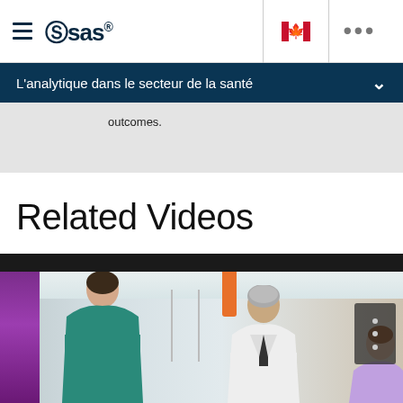SAS logo navigation bar with hamburger menu, Canadian flag icon, and ellipsis menu
L'analytique dans le secteur de la santé
outcomes.
Related Videos
[Figure (photo): Hospital corridor scene showing a person in teal scrubs from behind and a doctor in a white coat, with a dark top bar and video controls overlay on the right side.]